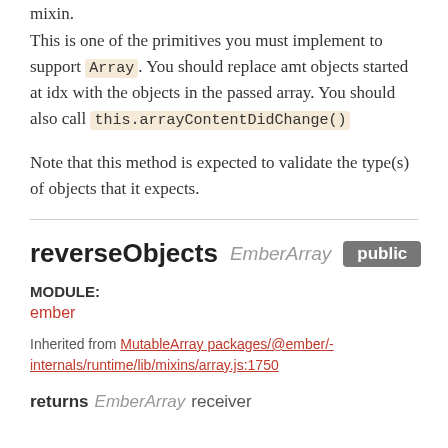mixin.
This is one of the primitives you must implement to support Array. You should replace amt objects started at idx with the objects in the passed array. You should also call this.arrayContentDidChange()
Note that this method is expected to validate the type(s) of objects that it expects.
reverseObjects EmberArray public
MODULE:
ember
Inherited from MutableArray packages/@ember/-internals/runtime/lib/mixins/array.js:1750
returns EmberArray receiver